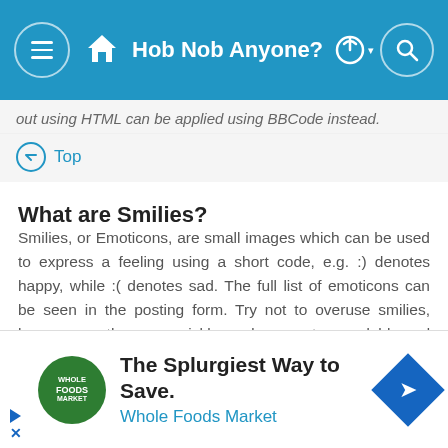Hob Nob Anyone?
out using HTML can be applied using BBCode instead.
Top
What are Smilies?
Smilies, or Emoticons, are small images which can be used to express a feeling using a short code, e.g. :) denotes happy, while :( denotes sad. The full list of emoticons can be seen in the posting form. Try not to overuse smilies, however, as they can quickly render a post unreadable and a moderator may edit them out or remove the post altogether. The board administrator may also have set a limit to the number of smilies you may use within a post.
[Figure (other): Advertisement for Whole Foods Market - The Splurgiest Way to Save.]